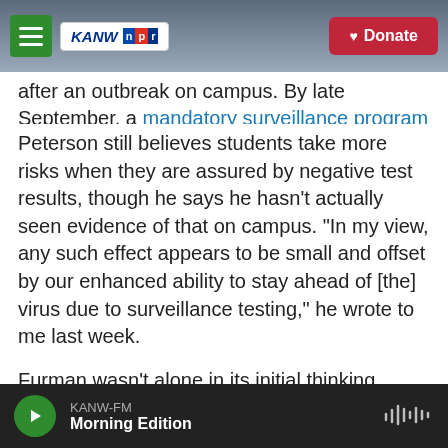KANW NPR | Donate
after an outbreak on campus. By late September, a mandatory surveillance program was in place, testing at least 20% of students weekly.
Peterson still believes students take more risks when they are assured by negative test results, though he says he hasn't actually seen evidence of that on campus. "In my view, any such effect appears to be small and offset by our enhanced ability to stay ahead of [the] virus due to surveillance testing," he wrote to me last week.
Furman wasn't alone in its initial thinking. Research from the summer found that this "false sense of
KANW-FM | Morning Edition